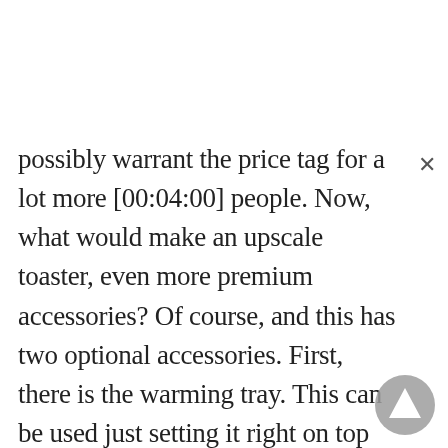possibly warrant the price tag for a lot more [00:04:00] people. Now, what would make an upscale toaster, even more premium accessories? Of course, and this has two optional accessories. First, there is the warming tray. This can be used just setting it right on top and placing whatever you want to heat. What I found was I needed to run the cycle a couple of times and specifically with the muffin when I started eating it, it was still cold inside. So I think what I would recommend for thicker foods would be to cut them down the middle and place them, uh, side by [00:04:30] side. Next, we've got the panini press and this is super simple